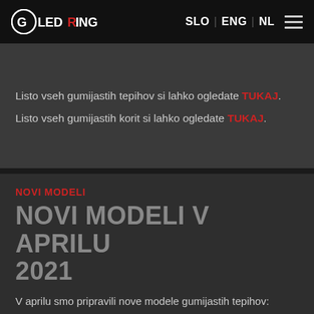GledRing | SLO | ENG | NL
Listo vseh gumijastih tepihov si lahko ogledate TUKAJ.
Listo vseh gumijastih korit si lahko ogledate TUKAJ.
NOVI MODELI
NOVI MODELI V APRILU 2021
V aprilu smo pripravili nove modele gumijastih tepihov:
(item 0659) VW ID.4 SUV 03.2021->